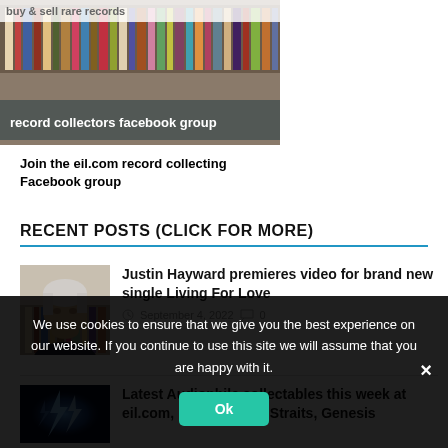[Figure (screenshot): Banner image showing record shelves with text 'buy & sell rare records' and 'record collectors facebook group']
Join the eil.com record collecting Facebook group
RECENT POSTS (CLICK FOR MORE)
[Figure (photo): Photo of Justin Hayward, older man with white/grey hair]
Justin Hayward premieres video for brand new single Living For Love
September 4, 2022   0
[Figure (photo): Photo with blue electric/lightning visual effect]
Latest Audiophile collectables this week at eil.com, includes Dire Straits, Genesis
We use cookies to ensure that we give you the best experience on our website. If you continue to use this site we will assume that you are happy with it.
Ok